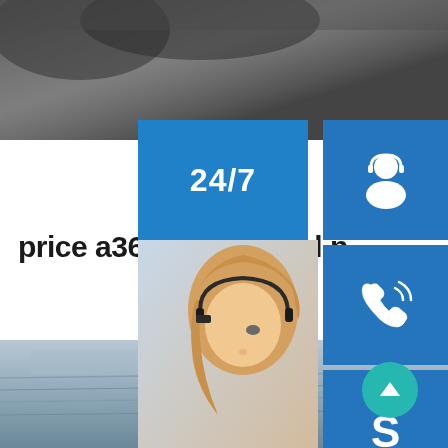[Figure (photo): Dark blurry background photo at top of page, appears to be an industrial or outdoor scene]
price a36 carbon steel p
[Figure (infographic): Customer service overlay panel with 24/7 text, headset icon, phone icon, Skype icon, woman with headset photo, PROVIDE / Empowering Customers text, and 'online live' button]
[Figure (photo): Bottom photo showing steel plates/sheets with metallic grey surface]
[Figure (other): Teal circular scroll-to-top button with upward arrow]